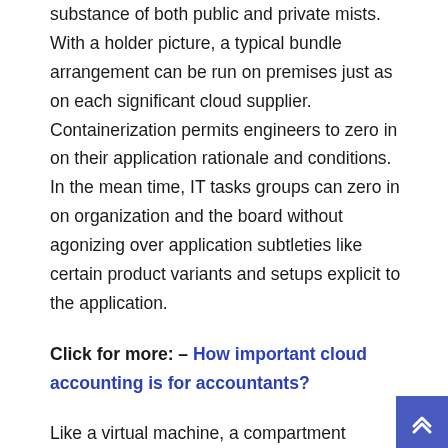substance of both public and private mists. With a holder picture, a typical bundle arrangement can be run on premises just as on each significant cloud supplier. Containerization permits engineers to zero in on their application rationale and conditions. In the mean time, IT tasks groups can zero in on organization and the board without agonizing over application subtleties like certain product variants and setups explicit to the application.
Click for more: – How important cloud accounting is for accountants?
Like a virtual machine, a compartment